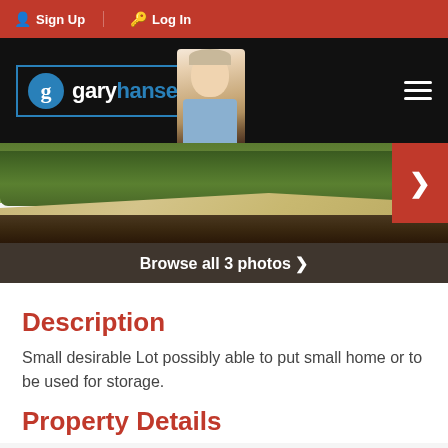Sign Up | Log In
[Figure (logo): Gary Hansen RE/MAX real estate agent logo with photo]
[Figure (photo): Property photo showing sandy dirt path curving alongside lush green hedge/bushes. Navigation arrow on right. 'Browse all 3 photos >' overlay at bottom.]
Description
Small desirable Lot possibly able to put small home or to be used for storage.
Property Details